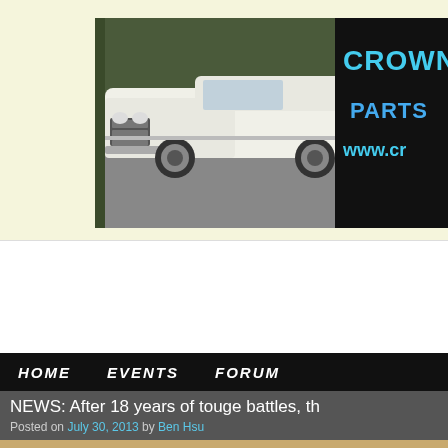[Figure (photo): Banner image showing a white classic Japanese car (Toyota Crown pickup/wagon) in a parking lot, with 'CROWNM... PARTS... www.cr...' logo text in blue and cyan on black background to the right]
[Figure (other): White advertisement block area]
HOME   EVENTS   FORUM
NEWS: After 18 years of touge battles, th
Posted on July 30, 2013 by Ben Hsu
[Figure (photo): Black and white photo of cars on a mountain touge road at night]